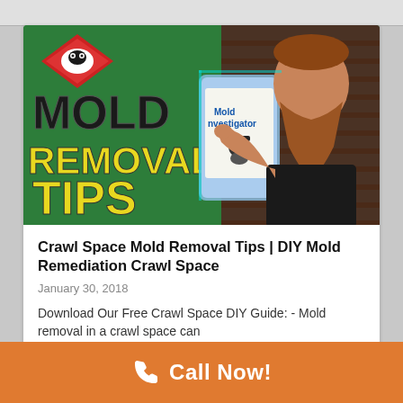[Figure (screenshot): Video thumbnail showing 'Mold Removal Tips' text in yellow on green background, a man with a red beard holding a 'Mold Investigator' badge, and a red diamond logo with a ninja-like face.]
Crawl Space Mold Removal Tips | DIY Mold Remediation Crawl Space
January 30, 2018
Download Our Free Crawl Space DIY Guide: - Mold removal in a crawl space can
Call Now!